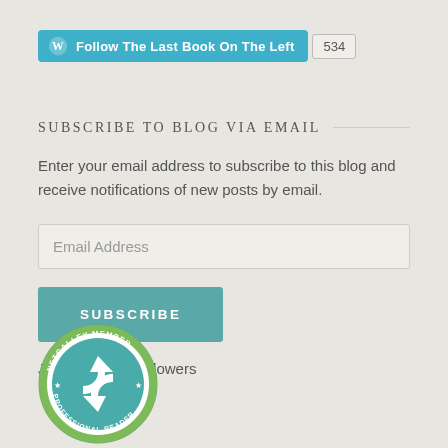[Figure (infographic): WordPress Follow button for 'The Last Book On The Left' with follower count badge showing 534]
SUBSCRIBE TO BLOG VIA EMAIL
Enter your email address to subscribe to this blog and receive notifications of new posts by email.
Email Address
SUBSCRIBE
Join 548 other followers
[Figure (logo): NetGalley Member badge, circular green logo with recycling arrows, text reading NETGALLEY MEMBER, PROFESSIONAL READER]